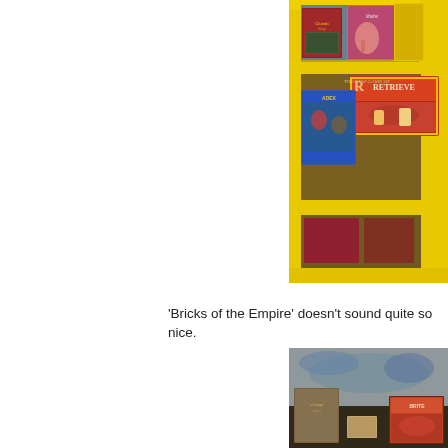[Figure (photo): Photo of vintage board game boxes on a shelf with yellow frame, including 'Retrieve' and 'Cluedo/Ludo' style games in colorful packaging.]
‘Bricks of the Empire’ doesn’t sound quite so nice.
[Figure (photo): Photo of old board games and vintage boxes displayed on a surface with a map background, in dim lighting.]